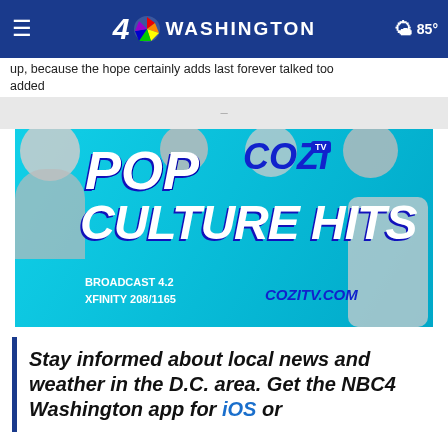4 NBC WASHINGTON  85°
up, because the hope certainly adds last forever talked too added
[Figure (photo): Cozi TV advertisement banner with text 'POP COZI TV CULTURE HITS BROADCAST 4.2 XFINITY 208/1165 COZITV.COM' on teal background with TV show character faces]
Stay informed about local news and weather in the D.C. area. Get the NBC4 Washington app for iOS or